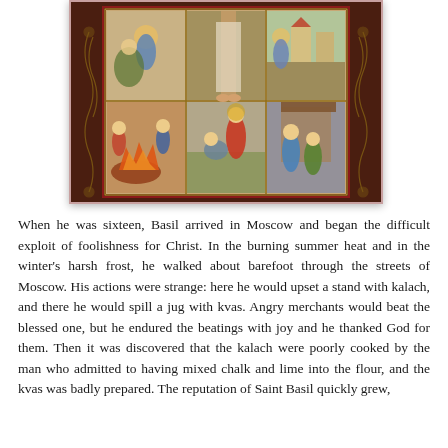[Figure (illustration): A Russian Orthodox icon depicting multiple scenes from the life of Saint Basil the Blessed (Fool for Christ), set in a dark brown ornate frame with decorative golden scroll work on the sides. The icon shows six panels with narrative scenes of the saint's life in a Byzantine/Russian icon painting style.]
When he was sixteen, Basil arrived in Moscow and began the difficult exploit of foolishness for Christ. In the burning summer heat and in the winter's harsh frost, he walked about barefoot through the streets of Moscow. His actions were strange: here he would upset a stand with kalach, and there he would spill a jug with kvas. Angry merchants would beat the blessed one, but he endured the beatings with joy and he thanked God for them. Then it was discovered that the kalach were poorly cooked by the man who admitted to having mixed chalk and lime into the flour, and the kvas was badly prepared. The reputation of Saint Basil quickly grew,